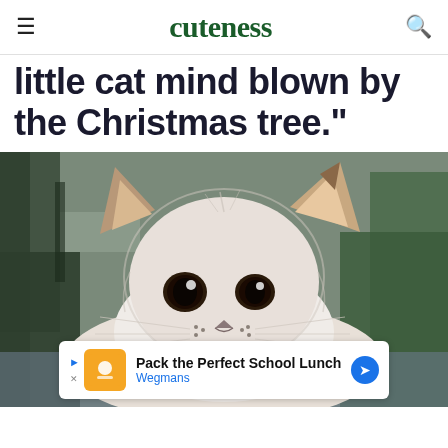cuteness
little cat mind blown by the Christmas tree."
[Figure (photo): Close-up photo of a fluffy white and brown kitten looking wide-eyed at the camera, lying on a surface with a blurred home interior background including a couch.]
Pack the Perfect School Lunch Wegmans